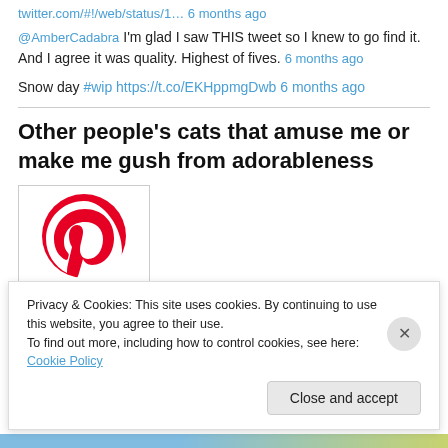twitter.com/#!/web/status/1… 6 months ago
@AmberCadabra I'm glad I saw THIS tweet so I knew to go find it. And I agree it was quality. Highest of fives. 6 months ago
Snow day #wip https://t.co/EKHppmgDwb 6 months ago
Other people's cats that amuse me or make me gush from adorableness
[Figure (logo): Pinterest logo - red circular pin icon]
Privacy & Cookies: This site uses cookies. By continuing to use this website, you agree to their use. To find out more, including how to control cookies, see here: Cookie Policy
Close and accept